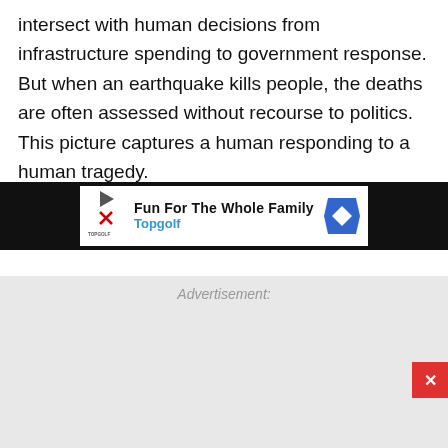intersect with human decisions from infrastructure spending to government response. But when an earthquake kills people, the deaths are often assessed without recourse to politics. This picture captures a human responding to a human tragedy.
–Daniel Denvir, staff reporter
[Figure (other): Advertisement placeholder area with grey background and 'Advertisement:' label in italic grey text]
[Figure (other): Bottom advertisement banner showing Topgolf ad: 'Fun For The Whole Family' with Topgolf logo (play button and X icons), Topgolf name in blue, and a blue diamond direction sign icon on dark background]